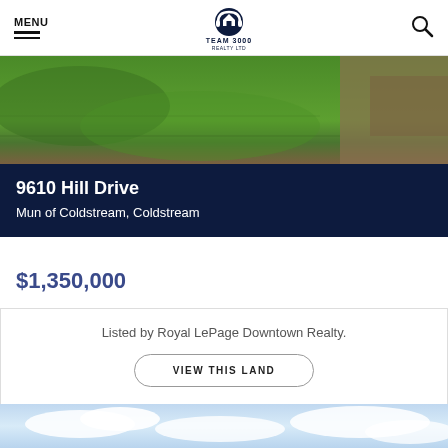MENU | Team 3000 Realty Ltd
[Figure (photo): Aerial view of green farmland/land parcel with soil visible at right edge]
9610 Hill Drive
Mun of Coldstream, Coldstream
$1,350,000
Listed by Royal LePage Downtown Realty.
VIEW THIS LAND
[Figure (photo): Sky with clouds, partial view at bottom of page]